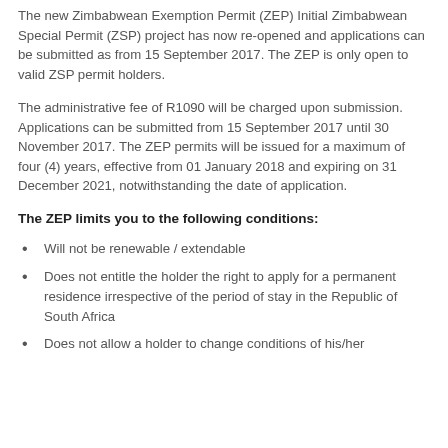The new Zimbabwean Exemption Permit (ZEP) Initial Zimbabwean Special Permit (ZSP) project has now re-opened and applications can be submitted as from 15 September 2017. The ZEP is only open to valid ZSP permit holders.
The administrative fee of R1090 will be charged upon submission. Applications can be submitted from 15 September 2017 until 30 November 2017. The ZEP permits will be issued for a maximum of four (4) years, effective from 01 January 2018 and expiring on 31 December 2021, notwithstanding the date of application.
The ZEP limits you to the following conditions:
Will not be renewable / extendable
Does not entitle the holder the right to apply for a permanent residence irrespective of the period of stay in the Republic of South Africa
Does not allow a holder to change conditions of his/her